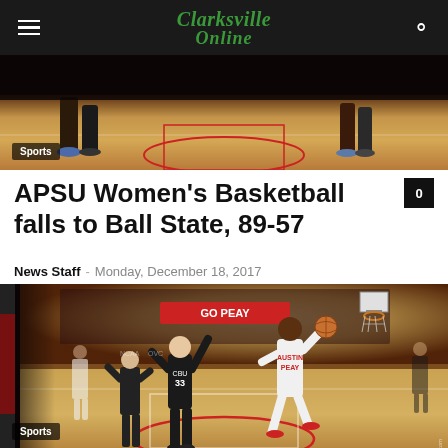Clarksville Online
[Figure (photo): Basketball court scene from above/side angle showing players on a red and wood-tone court]
Sports
APSU Women's Basketball falls to Ball State, 89-57
News Staff – Monday, December 18, 2017
[Figure (photo): Basketball game action photo showing APSU player in white driving to the basket against CBU defenders in black uniforms in an indoor arena]
Sports